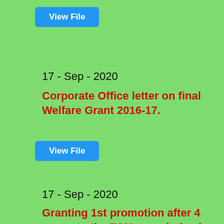[Figure (other): Blue 'View File' button]
17 - Sep - 2020
Corporate Office letter on final Welfare Grant 2016-17.
[Figure (other): Blue 'View File' button]
17 - Sep - 2020
Granting 1st promotion after 4 years, to the TSMs regularised after 01.10.2000.
Thousands of TSMs, who were regularised after 01.10.2000, were issued with 'Presidential Orders', due to the continuous